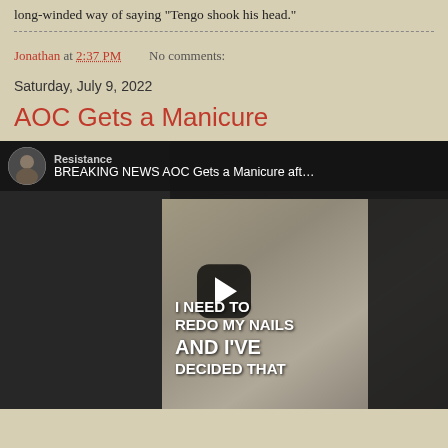long-winded way of saying "Tengo shook his head."
Jonathan at 2:37 PM   No comments:
Saturday, July 9, 2022
AOC Gets a Manicure
[Figure (screenshot): YouTube video embed showing 'BREAKING NEWS AOC Gets a Manicure aft...' on channel 'Resistance', with a play button overlay and video still of a woman smiling outdoors with text overlay 'I NEED TO REDO MY NAILS AND I'VE DECIDED THAT']